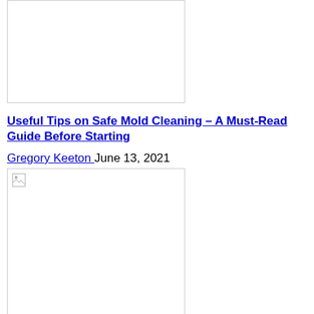[Figure (photo): Top article thumbnail image placeholder (empty/white rectangle with border)]
Useful Tips on Safe Mold Cleaning – A Must-Read Guide Before Starting
Gregory Keeton June 13, 2021
[Figure (photo): Bottom article thumbnail image placeholder with broken image icon in top-left corner]